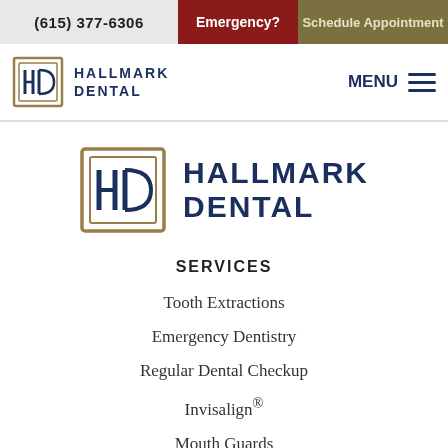(615) 377-6306 | Emergency? | Schedule Appointment
[Figure (logo): Hallmark Dental logo with monogram icon and text HALLMARK DENTAL in nav bar]
[Figure (logo): Hallmark Dental large centered logo with monogram icon and text HALLMARK DENTAL]
SERVICES
Tooth Extractions
Emergency Dentistry
Regular Dental Checkup
Invisalign®
Mouth Guards
All Services